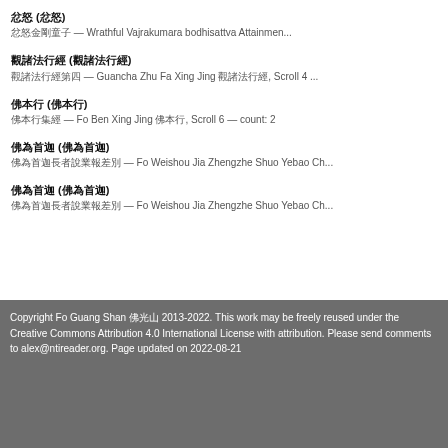忿怒 (忿怒) 忿怒金剛童子 — Wrathful Vajrakumara bodhisattva Attainmen...
觀諸法行經 (觀諸法行經) 觀諸法行經第四 — Guancha Zhu Fa Xing Jing 觀諸法行經, Scroll 4 ...
佛本行 (佛本行) 佛本行集經 — Fo Ben Xing Jing 佛本行, Scroll 6 — count: 2
佛為首迦 (佛為首迦) 佛為首迦長者說業報差別 — Fo Weishou Jia Zhengzhe Shuo Yebao Ch...
佛為首迦 (佛為首迦) 佛為首迦長者說業報差別 — Fo Weishou Jia Zhengzhe Shuo Yebao Ch...
Copyright Fo Guang Shan 佛光山 2013-2022. This work may be freely reused under the Creative Commons Attribution 4.0 International License with attribution. Please send comments to alex@ntireader.org. Page updated on 2022-08-21